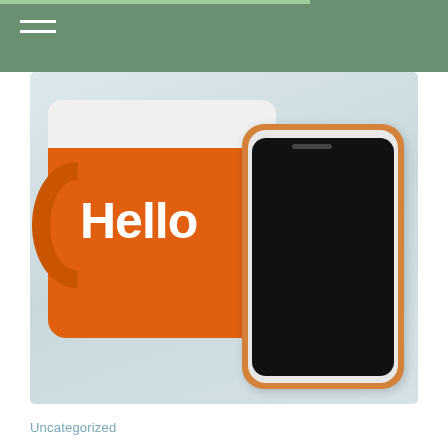[Figure (photo): Photo of an orange ceramic mug with 'Hello' written in white text and a white/orange-cased smartphone lying flat on a light surface]
Uncategorized
VinFast says preorders ‘will get a $7,500 rebate,’ federal tax credit or not
AUGUST 22, 2022
We wrote that the Vietnamese EV car company VinFast is bringing its EV companies to the U.S. Since then, Congress announced it is making changes to